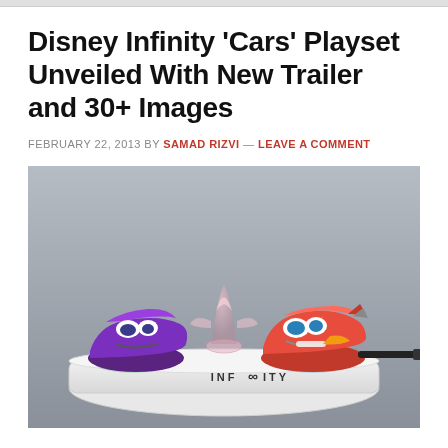Disney Infinity 'Cars' Playset Unveiled With New Trailer and 30+ Images
FEBRUARY 22, 2013 BY SAMAD RIZVI — LEAVE A COMMENT
[Figure (photo): Photo of Disney Infinity Cars playset showing two toy cars (purple Holley Shiftwell and red Lightning McQueen) on a white infinity base with glowing circles, plus a crystal figure in the middle, with the INFINITY logo on the base.]